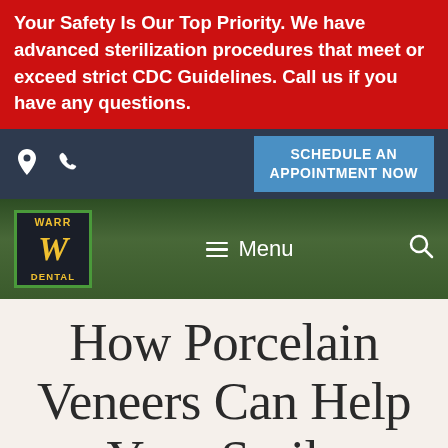Your Safety Is Our Top Priority. We have advanced sterilization procedures that meet or exceed strict CDC Guidelines. Call us if you have any questions.
[Figure (screenshot): Navigation bar with dark background showing location pin icon and phone icon on the left, and a blue 'SCHEDULE AN APPOINTMENT NOW' button on the right]
[Figure (screenshot): Logo bar with forest background showing Warr Dental logo on the left (green border, yellow W and text), hamburger menu with 'Menu' text in the center, and search icon on the right]
How Porcelain Veneers Can Help Your Smile